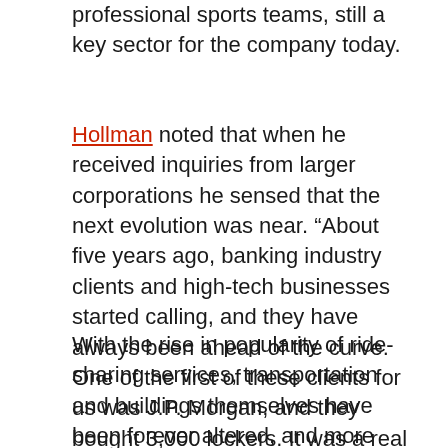professional sports teams, still a key sector for the company today.
Hollman noted that when he received inquiries from larger corporations he sensed that the next evolution was near. “About five years ago, banking industry clients and high-tech businesses started calling, and they have always been ahead of the curve. One of the first of these clients for us was J.P. Morgan, and they bought 3,000 lockers. It was a real eye-opener for me.”
With the rise in popularity of ride-sharing services, transportation and buildings themselves have been forever altered, and more lockers are required to accommodate this shift in lifestyle. “Parking has